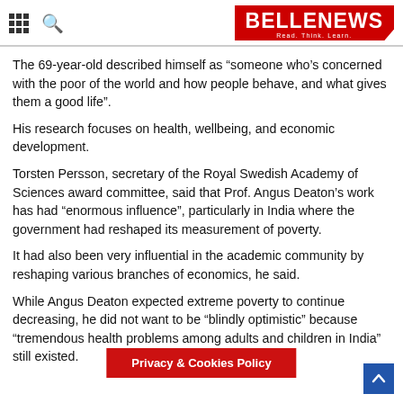BELLE NEWS Read. Think. Learn.
The 69-year-old described himself as “someone who’s concerned with the poor of the world and how people behave, and what gives them a good life”.
His research focuses on health, wellbeing, and economic development.
Torsten Persson, secretary of the Royal Swedish Academy of Sciences award committee, said that Prof. Angus Deaton’s work has had “enormous influence”, particularly in India where the government had reshaped its measurement of poverty.
It had also been very influential in the academic community by reshaping various branches of economics, he said.
While Angus Deaton expected extreme poverty to continue decreasing, he did not want to be “blindly optimistic” because “tremendous health problems among adults and children in India” still existed.
Privacy & Cookies Policy